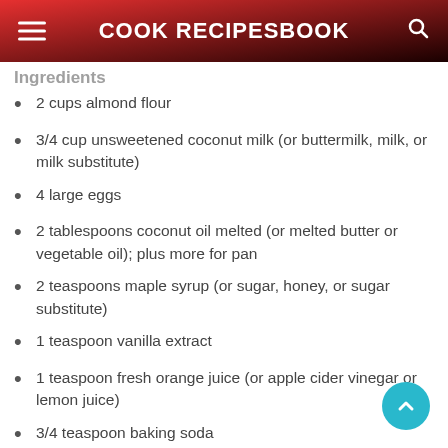COOK RECIPESBOOK
Ingredients
2 cups almond flour
3/4 cup unsweetened coconut milk (or buttermilk, milk, or milk substitute)
4 large eggs
2 tablespoons coconut oil melted (or melted butter or vegetable oil); plus more for pan
2 teaspoons maple syrup (or sugar, honey, or sugar substitute)
1 teaspoon vanilla extract
1 teaspoon fresh orange juice (or apple cider vinegar or lemon juice)
3/4 teaspoon baking soda
1/8 teaspoon salt